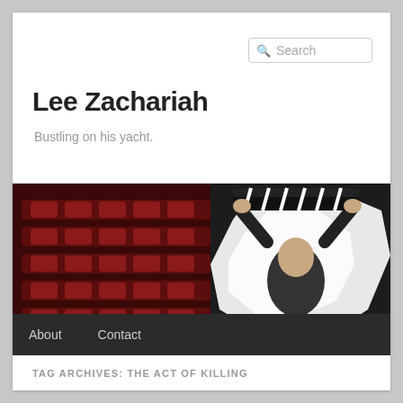Search
Lee Zachariah
Bustling on his yacht.
[Figure (photo): Banner photo of a man holding a clapperboard above his head in front of red theatre seats]
About   Contact
TAG ARCHIVES: THE ACT OF KILLING